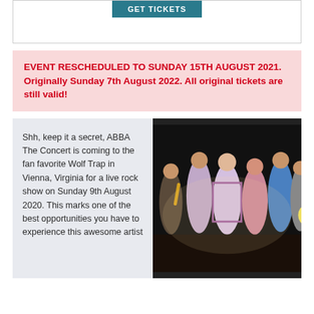[Figure (other): GET TICKETS button on top section with border]
EVENT RESCHEDULED TO SUNDAY 15TH AUGUST 2021. Originally Sunday 7th August 2022. All original tickets are still valid!
Shh, keep it a secret, ABBA The Concert is coming to the fan favorite Wolf Trap in Vienna, Virginia for a live rock show on Sunday 9th August 2020. This marks one of the best opportunities you have to experience this awesome artist
[Figure (photo): Group photo of band members performing on stage, colorful outfits, dark background]